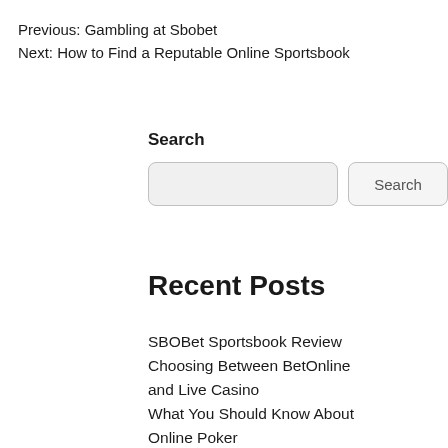Previous: Gambling at Sbobet
Next: How to Find a Reputable Online Sportsbook
Search
[Figure (other): Search input box and Search button]
Recent Posts
SBOBet Sportsbook Review
Choosing Between BetOnline and Live Casino
What You Should Know About Online Poker
How to Play the Lottery Online